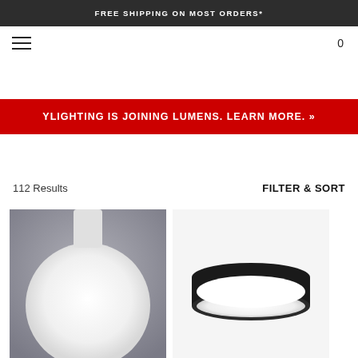FREE SHIPPING ON MOST ORDERS*
0
YLIGHTING IS JOINING LUMENS. LEARN MORE. »
112 Results
FILTER & SORT
[Figure (photo): White globe flush mount ceiling light on gray background]
[Figure (photo): Black cylinder flush mount ceiling light with white glass shade on white background]